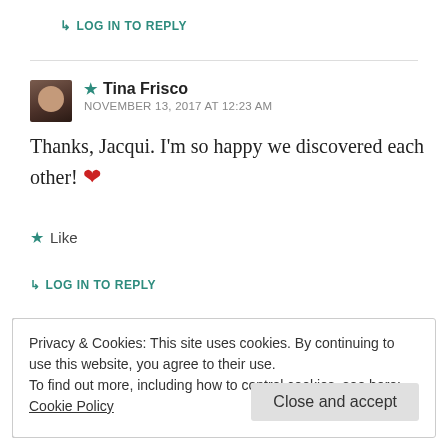↳ LOG IN TO REPLY
★ Tina Frisco
NOVEMBER 13, 2017 AT 12:23 AM
Thanks, Jacqui. I'm so happy we discovered each other! ❤
★ Like
↳ LOG IN TO REPLY
Privacy & Cookies: This site uses cookies. By continuing to use this website, you agree to their use.
To find out more, including how to control cookies, see here: Cookie Policy
Close and accept